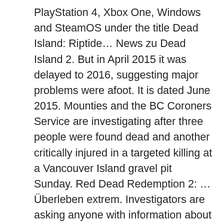PlayStation 4, Xbox One, Windows and SteamOS under the title Dead Island: Riptide… News zu Dead Island 2. But in April 2015 it was delayed to 2016, suggesting major problems were afoot. It is dated June 2015. Mounties and the BC Coroners Service are investigating after three people were found dead and another critically injured in a targeted killing at a Vancouver Island gravel pit Sunday. Red Dead Redemption 2: … Überleben extrem. Investigators are asking anyone with information about the incident, or dash camera or trail camera video from area, to call the police tip line at 250-380-6211. The 10 most popular stories of the day, delivered at 5pm UK time. "There are many questions that remain unanswered," said Foreman. Four police vehicles and local fire trucks were blocking the entranceway to the gravel pit on Melrose Road on Sunday night. People are